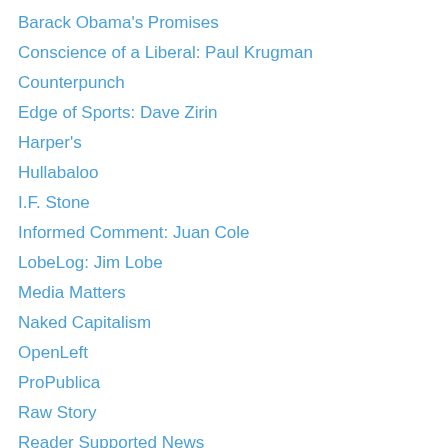Barack Obama's Promises
Conscience of a Liberal: Paul Krugman
Counterpunch
Edge of Sports: Dave Zirin
Harper's
Hullabaloo
I.F. Stone
Informed Comment: Juan Cole
LobeLog: Jim Lobe
Media Matters
Naked Capitalism
OpenLeft
ProPublica
Raw Story
Reader Supported News
Right Web
Solitary Watch
Stephen M. Walt
Tax.com
Technorati